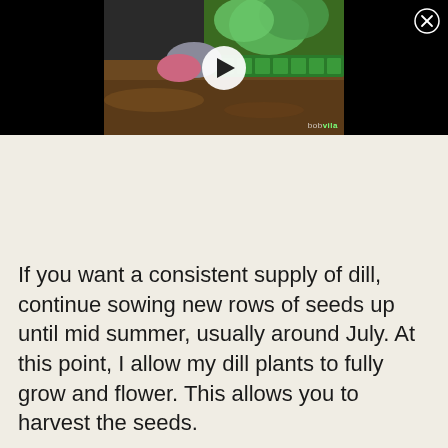[Figure (photo): Video thumbnail showing a person in pink and grey gardening gloves planting seedlings in a green seed tray, with soil in the foreground. A white play button is centered on the thumbnail. A 'bobvila' watermark appears in the lower right. The thumbnail is centered on a black background. A circular close (X) button appears in the upper right corner of the black bar.]
If you want a consistent supply of dill, continue sowing new rows of seeds up until mid summer, usually around July. At this point, I allow my dill plants to fully grow and flower. This allows you to harvest the seeds.